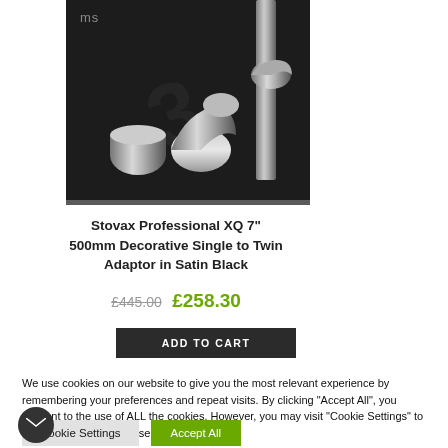[Figure (photo): Product photo of Stovax Professional XQ flue pipe fittings and adaptors on a dark background, with partial brand name visible top-left.]
Stovax Professional XQ 7" 500mm Decorative Single to Twin Adaptor in Satin Black
£445.00  £258.30
ADD TO CART
We use cookies on our website to give you the most relevant experience by remembering your preferences and repeat visits. By clicking "Accept All", you consent to the use of ALL the cookies. However, you may visit "Cookie Settings" to provide a controlled consent.
Cookie Settings
Accept All